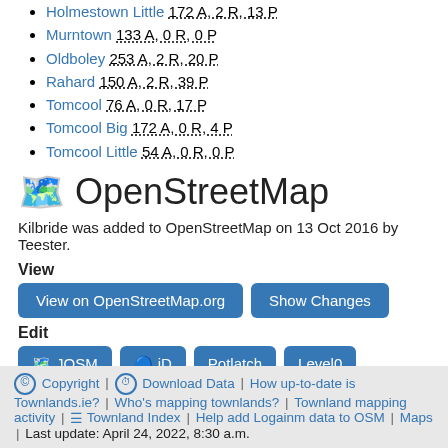Holmestown Little 172 A, 2 R, 13 P
Murntown 133 A, 0 R, 0 P
Oldboley 253 A, 2 R, 20 P
Rahard 150 A, 2 R, 39 P
Tomcool 76 A, 0 R, 17 P
Tomcool Big 172 A, 0 R, 4 P
Tomcool Little 54 A, 0 R, 0 P
OpenStreetMap
Kilbride was added to OpenStreetMap on 13 Oct 2016 by Teester.
View
View on OpenStreetMap.org
Show Changes
Edit
JOSM
iD
Potlatch
Level0
© Copyright | ⏱ Download Data | How up-to-date is Townlands.ie? | Who's mapping townlands? | Townland mapping activity | ☰ Townland Index | Help add Logainm data to OSM | Maps | Last update: April 24, 2022, 8:30 a.m.